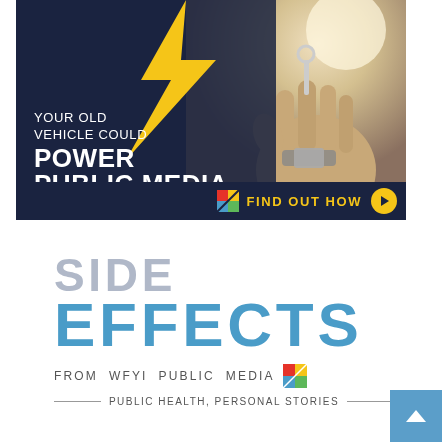[Figure (infographic): Advertisement banner with dark navy background, a yellow lightning bolt, a photo of a hand holding car keys, and white text reading 'YOUR OLD VEHICLE COULD POWER PUBLIC MEDIA.' with a 'FIND OUT HOW' button with arrow, and WFYI logo.]
[Figure (logo): Side Effects from WFYI Public Media logo. 'SIDE' in large gray letters, 'EFFECTS' in large blue letters, 'FROM WFYI PUBLIC MEDIA' in small gray letters with WFYI logo icon, and tagline 'PUBLIC HEALTH, PERSONAL STORIES' with decorative lines.]